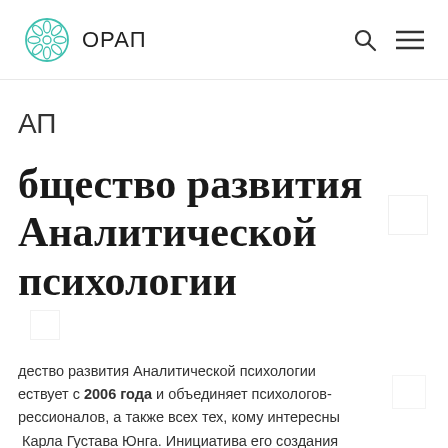ОРАП
АП
бщество развития Аналитической психологии
дество развития Аналитической психологии ествует с 2006 года и объединяет психологов- рессионалов, а также всех тех, кому интересны  Карла Густава Юнга. Инициатива его создания надлежит Светлане Круговой, благодаря ее гии и энтузиазму сегодня мы команда